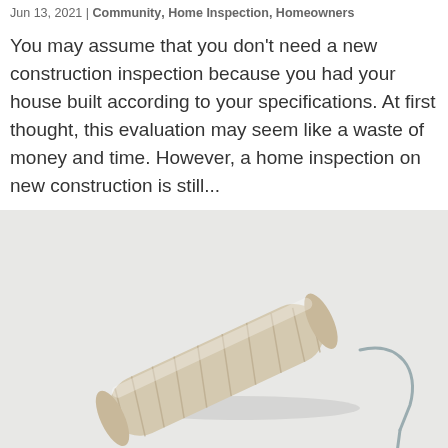Jun 13, 2021 | Community, Home Inspection, Homeowners
You may assume that you don't need a new construction inspection because you had your house built according to your specifications. At first thought, this evaluation may seem like a waste of money and time. However, a home inspection on new construction is still...
[Figure (photo): A paint roller with a beige/cream textured roller cover and metal wire frame handle, resting on a white surface. The handle shows a yellow/green grip at the bottom right.]